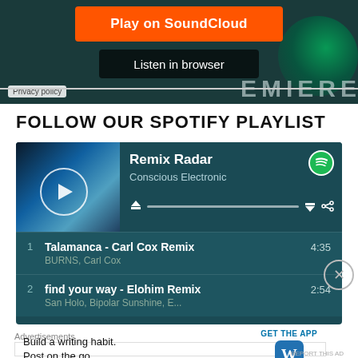[Figure (screenshot): SoundCloud embedded player with orange Play on SoundCloud button, Listen in browser button, Privacy policy label, and PREMIERE text over dark teal background with green orb]
FOLLOW OUR SPOTIFY PLAYLIST
[Figure (screenshot): Spotify playlist widget showing 'Remix Radar' by Conscious Electronic with two tracks: 1. Talamanca - Carl Cox Remix by BURNS, Carl Cox (4:35) and 2. find your way - Elohim Remix by San Holo, Bipolar Sunshine, E... (2:54)]
Advertisements
[Figure (screenshot): Advertisement: Build a writing habit. Post on the go. GET THE APP with WordPress icon]